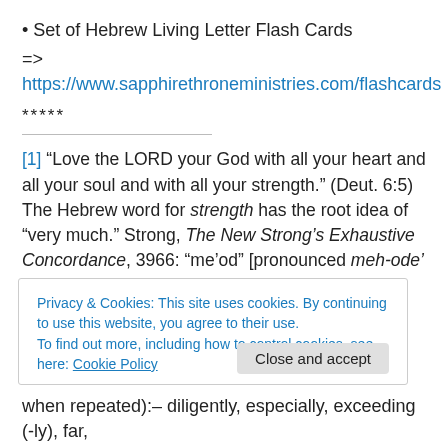Set of Hebrew Living Letter Flash Cards
=> https://www.sapphirethroneministries.com/flashcards
*****
[1] “Love the LORD your God with all your heart and all your soul and with all your strength.” (Deut. 6:5)  The Hebrew word for strength has the root idea of “very much.” Strong, The New Strong’s Exhaustive Concordance, 3966: “me’od” [pronounced meh-ode’ or ma-od or ma-ode too since the ‘e’ on the end in English makes for a long ‘o’ and
Privacy & Cookies: This site uses cookies. By continuing to use this website, you agree to their use.
To find out more, including how to control cookies, see here: Cookie Policy
when repeated):– diligently, especially, exceeding (-ly), far,